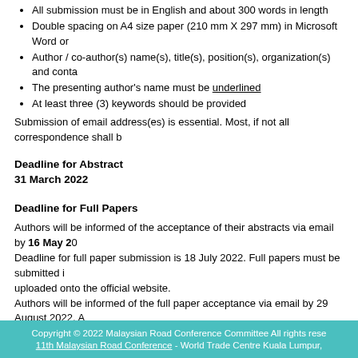All submission must be in English and about 300 words in length
Double spacing on A4 size paper (210 mm X 297 mm) in Microsoft Word or
Author / co-author(s) name(s), title(s), position(s), organization(s) and conta
The presenting author's name must be underlined
At least three (3) keywords should be provided
Submission of email address(es) is essential. Most, if not all correspondence shall b
Deadline for Abstract
31 March 2022
Deadline for Full Papers
Authors will be informed of the acceptance of their abstracts via email by 16 May 2022. Deadline for full paper submission is 18 July 2022. Full papers must be submitted in uploaded onto the official website. Authors will be informed of the full paper acceptance via email by 29 August 2022. Conference / Seminar Proceedings. Camera-ready (final) version will be substantia submitted via email by 12 September 2022.
Copyright © 2022 Malaysian Road Conference Committee All rights reserved
11th Malaysian Road Conference - World Trade Centre Kuala Lumpur,